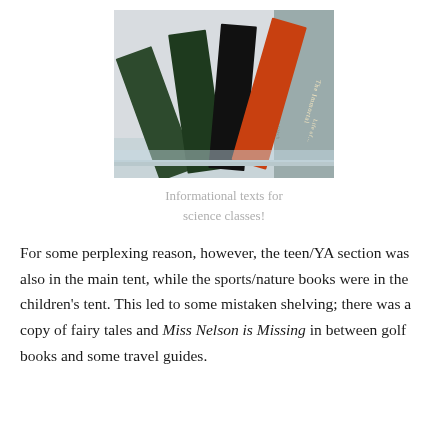[Figure (photo): Photo of several book spines fanned out, including Silent Spring, Stiff, and another orange-spined book, displayed on a shelf or surface.]
Informational texts for science classes!
For some perplexing reason, however, the teen/YA section was also in the main tent, while the sports/nature books were in the children’s tent. This led to some mistaken shelving; there was a copy of fairy tales and Miss Nelson is Missing in between golf books and some travel guides.